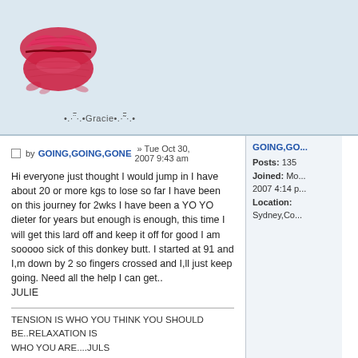[Figure (illustration): A red/pink lip print kiss mark illustration on a light blue background]
•.·˜¨·.•Gracie•.·˜¨·.•
by GOING,GOING,GONE » Tue Oct 30, 2007 9:43 am
Hi everyone just thought I would jump in I have about 20 or more kgs to lose so far I have been on this journey for 2wks I have been a YO YO dieter for years but enough is enough, this time I will get this lard off and keep it off for good I am sooooo sick of this donkey butt. I started at 91 and I,m down by 2 so fingers crossed and I,ll just keep going. Need all the help I can get..
JULIE
TENSION IS WHO YOU THINK YOU SHOULD BE..RELAXATION IS WHO YOU ARE....JULS
(CHINESE PROVERB)
Image
GOING,GO...
Posts: 135
Joined: Mo... 2007 4:14 p...
Location: Sydney,Co...